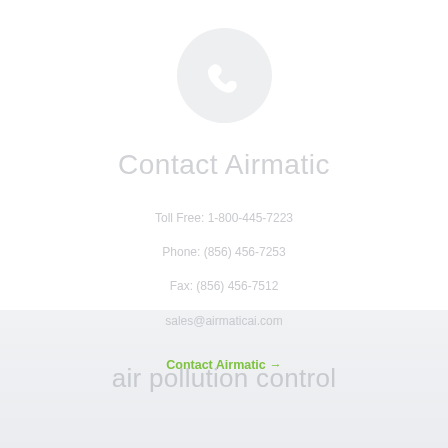[Figure (illustration): Light grey circle with a white telephone/phone handset icon centered inside]
Contact Airmatic
Toll Free: 1-800-445-7223
Phone: (856) 456-7253
Fax: (856) 456-7512
sales@airmaticai.com
Contact Airmatic →
air pollution control